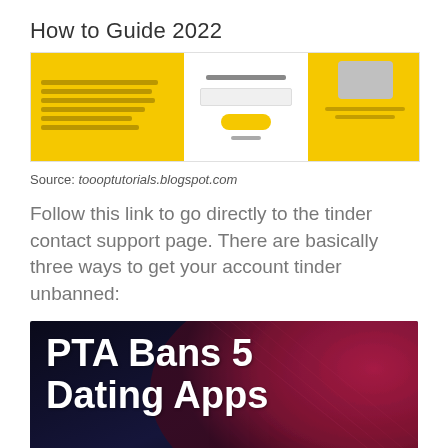How to Guide 2022
[Figure (screenshot): Screenshot of a mobile app interface showing a yellow-background safety/warning panel on the left, a white center panel with a button, and a right panel with a phone graphic]
Source: toooptutorials.blogspot.com
Follow this link to go directly to the tinder contact support page. There are basically three ways to get your account tinder unbanned:
[Figure (photo): Dark image with large bold white text reading 'PTA Bans 5 Dating Apps' on a background of dark blue and pink/red texture, with a circled X icon at the bottom]